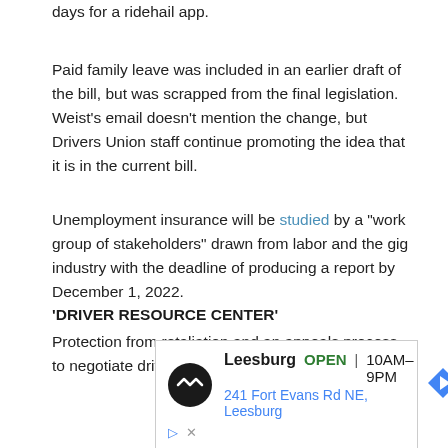Drivers would be eligible for unpaid sick leave after working for 90 days for a ridehail app.
Paid family leave was included in an earlier draft of the bill, but was scrapped from the final legislation. Weist's email doesn't mention the change, but Drivers Union staff continue promoting the idea that it is in the current bill.
Unemployment insurance will be studied by a "work group of stakeholders" drawn from labor and the gig industry with the deadline of producing a report by December 1, 2022.
‘DRIVER RESOURCE CENTER’
Protection from retaliation and an appeals process to negotiate driver
[Figure (other): Advertisement for Leesburg store showing open hours 10AM-9PM and address 241 Fort Evans Rd NE, Leesburg]